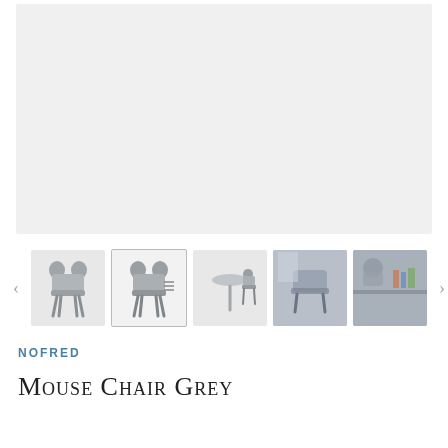[Figure (photo): Main large product image area showing Mouse Chair Grey - light grey background placeholder (main image viewer)]
[Figure (photo): Thumbnail strip showing 5 product images of the Mouse Chair Grey: front view illustration, side/detail view with text overlay selected, table-and-chair set view, close-up lifestyle photo, and partial lifestyle photo. Left and right navigation arrows flank the thumbnails.]
NOFRED
Mouse Chair Grey